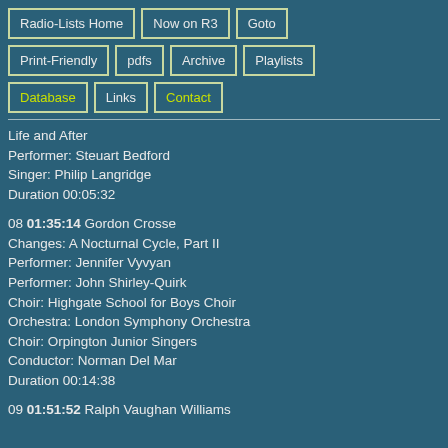Radio-Lists Home | Now on R3 | Goto | Print-Friendly | pdfs | Archive | Playlists | Database | Links | Contact
Life and After
Performer: Steuart Bedford
Singer: Philip Langridge
Duration 00:05:32
08 01:35:14 Gordon Crosse
Changes: A Nocturnal Cycle, Part II
Performer: Jennifer Vyvyan
Performer: John Shirley-Quirk
Choir: Highgate School for Boys Choir
Orchestra: London Symphony Orchestra
Choir: Orpington Junior Singers
Conductor: Norman Del Mar
Duration 00:14:38
09 01:51:52 Ralph Vaughan Williams